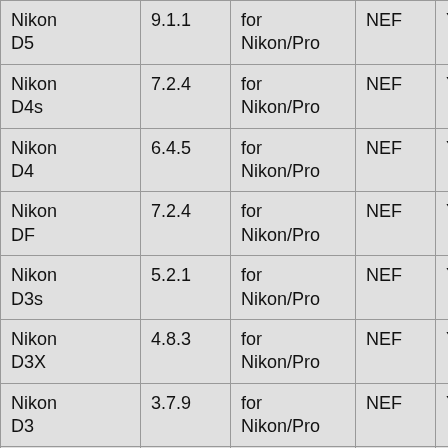| Camera | Version | Plugin | Format | Support |
| --- | --- | --- | --- | --- |
| Nikon D5 | 9.1.1 | for Nikon/Pro | NEF | Yes/Yes |
| Nikon D4s | 7.2.4 | for Nikon/Pro | NEF | Yes/Yes |
| Nikon D4 | 6.4.5 | for Nikon/Pro | NEF | Yes/Yes |
| Nikon DF | 7.2.4 | for Nikon/Pro | NEF | Yes/Yes |
| Nikon D3s | 5.2.1 | for Nikon/Pro | NEF | Yes/Yes |
| Nikon D3X | 4.8.3 | for Nikon/Pro | NEF | Yes/Yes |
| Nikon D3 | 3.7.9 | for Nikon/Pro | NEF | Yes/Yes |
| Nikon |  | for |  |  |